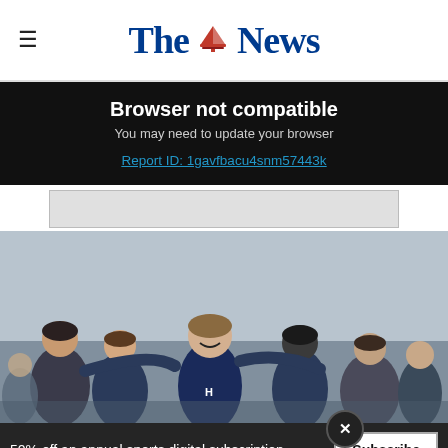The News
Browser not compatible
You may need to update your browser
Report ID: 1gavfbacu4snm57443k
[Figure (photo): Football players celebrating together in a group hug, wearing blue jerseys]
50% off an annual sports digital subscription
Subscribe